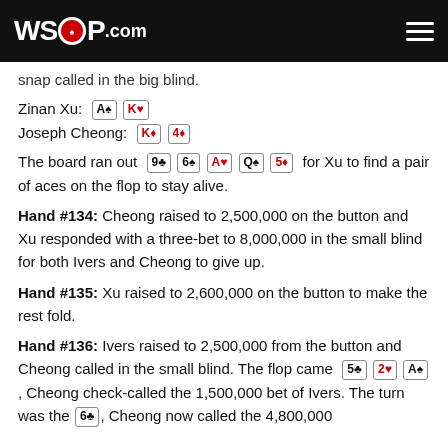WSOP.COM
snap called in the big blind.
Zinan Xu: A♠ K♥
Joseph Cheong: K♦ 4♦
The board ran out 9♣ 6♠ A♥ Q♠ 5♦ for Xu to find a pair of aces on the flop to stay alive.
Hand #134: Cheong raised to 2,500,000 on the button and Xu responded with a three-bet to 8,000,000 in the small blind for both Ivers and Cheong to give up.
Hand #135: Xu raised to 2,600,000 on the button to make the rest fold.
Hand #136: Ivers raised to 2,500,000 from the button and Cheong called in the small blind. The flop came 5♣ 2♥ A♠, Cheong check-called the 1,500,000 bet of Ivers. The turn was the 6♣, Cheong now called the 4,800,000